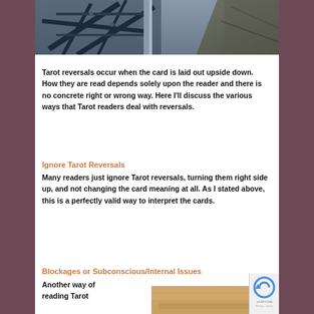[Figure (photo): Photograph of steel/metal structural framework or scaffolding with metal poles and beams against a grey sky, with rocky cliff on right side]
Tarot reversals occur when the card is laid out upside down. How they are read depends solely upon the reader and there is no concrete right or wrong way. Here I'll discuss the various ways that Tarot readers deal with reversals.
Ignore Tarot Reversals
Many readers just ignore Tarot reversals, turning them right side up, and not changing the card meaning at all. As I stated above, this is a perfectly valid way to interpret the cards.
Blockages or Subconscious/Internal Issues
Another way of
reading Tarot